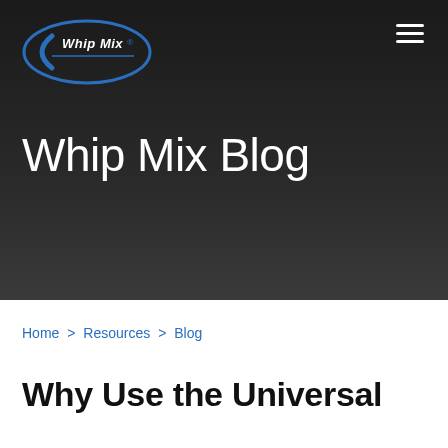[Figure (logo): Whip Mix logo — blue oval with stylized C and 'Whip Mix' text in white italic letters]
Whip Mix Blog
Home > Resources > Blog
Why Use the Universal